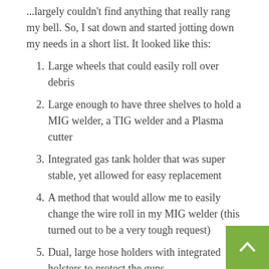...largely couldn't find anything that really rang my bell. So, I sat down and started jotting down my needs in a short list. It looked like this:
Large wheels that could easily roll over debris
Large enough to have three shelves to hold a MIG welder, a TIG welder and a Plasma cutter
Integrated gas tank holder that was super stable, yet allowed for easy replacement
A method that would allow me to easily change the wire roll in my MIG welder (this turned out to be a very tough request)
Dual, large hose holders with integrated holsters to protect the guns
Integrated 230 Volt power to the cart, not just the welders/plasma cutter
Integrated pressurized air to the cart, not just the plasma cutter
Integrated power cord management
Integrated helmet holders, welding gun holder, welding hose/cable sling